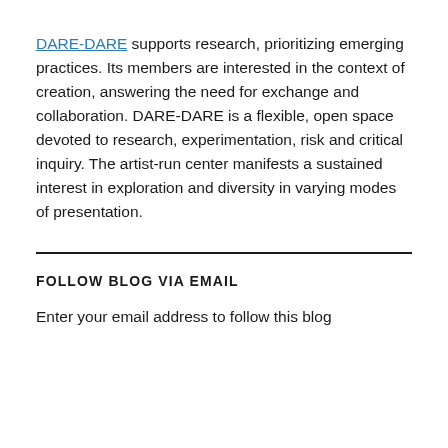DARE-DARE supports research, prioritizing emerging practices. Its members are interested in the context of creation, answering the need for exchange and collaboration. DARE-DARE is a flexible, open space devoted to research, experimentation, risk and critical inquiry. The artist-run center manifests a sustained interest in exploration and diversity in varying modes of presentation.
FOLLOW BLOG VIA EMAIL
Enter your email address to follow this blog